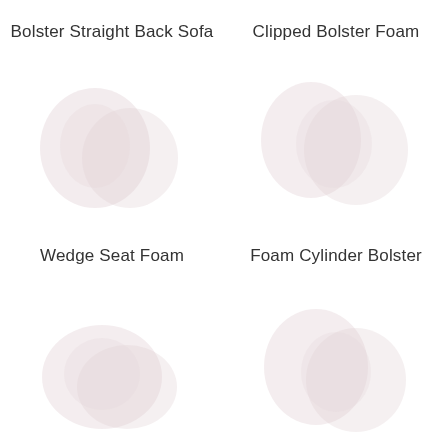Bolster Straight Back Sofa
[Figure (illustration): Faint ghosted image of a bolster straight back sofa foam shape, light pink/grey circular form]
Clipped Bolster Foam
[Figure (illustration): Faint ghosted image of a clipped bolster foam shape, light pink/grey circular form]
Wedge Seat Foam
[Figure (illustration): Faint ghosted image of a wedge seat foam shape, light pink/grey form]
Foam Cylinder Bolster
[Figure (illustration): Faint ghosted image of a foam cylinder bolster shape, light pink/grey circular form]